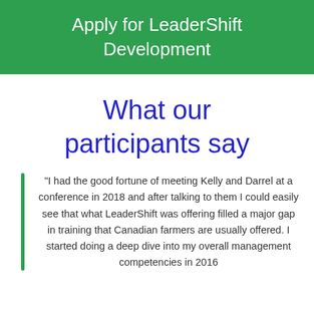Apply for LeaderShift Development
What our participants say
“I had the good fortune of meeting Kelly and Darrel at a conference in 2018 and after talking to them I could easily see that what LeaderShift was offering filled a major gap in training that Canadian farmers are usually offered. I started doing a deep dive into my overall management competencies in 2016